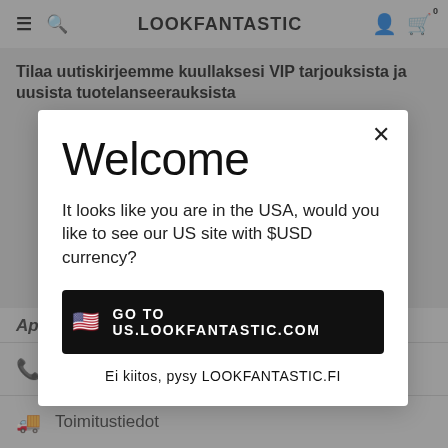LOOKFANTASTIC
Tilaa uutiskirjeemme kuullaksesi VIP tarjouksista ja uusista tuotelanseerauksista
Welcome
It looks like you are in the USA, would you like to see our US site with $USD currency?
GO TO US.LOOKFANTASTIC.COM
Ei kiitos, pysy LOOKFANTASTIC.FI
Apua & Lisatietoja
Asiakaspalvelu
Toimitustiedot